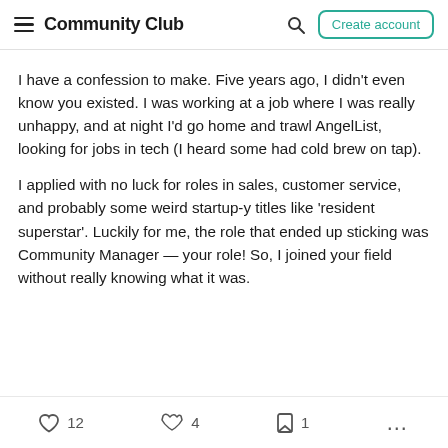Community Club  [search]  Create account
I have a confession to make. Five years ago, I didn't even know you existed. I was working at a job where I was really unhappy, and at night I'd go home and trawl AngelList, looking for jobs in tech (I heard some had cold brew on tap).
I applied with no luck for roles in sales, customer service, and probably some weird startup-y titles like 'resident superstar'. Luckily for me, the role that ended up sticking was Community Manager — your role! So, I joined your field without really knowing what it was.
12  4  1  ...